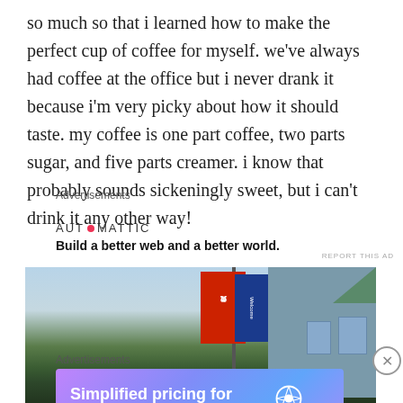so much so that i learned how to make the perfect cup of coffee for myself. we've always had coffee at the office but i never drank it because i'm very picky about how it should taste. my coffee is one part coffee, two parts sugar, and five parts creamer. i know that probably sounds sickeningly sweet, but i can't drink it any other way!
Advertisements
[Figure (other): Automattic advertisement: logo with red dot, tagline 'Build a better web and a better world.']
REPORT THIS AD
[Figure (photo): Outdoor photo showing flags on a pole and a building with a green roof, surrounded by trees]
Advertisements
[Figure (other): WordPress.com advertisement with purple/blue gradient: 'Simplified pricing for everything you need.' with WordPress.com logo]